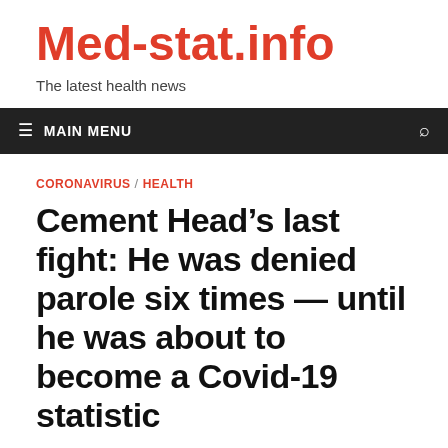Med-stat.info
The latest health news
≡ MAIN MENU
CORONAVIRUS / HEALTH
Cement Head's last fight: He was denied parole six times — until he was about to become a Covid-19 statistic
11.04.2021